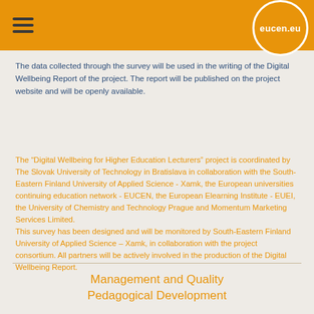eucen.eu
The data collected through the survey will be used in the writing of the Digital Wellbeing Report of the project. The report will be published on the project website and will be openly available.
The “Digital Wellbeing for Higher Education Lecturers” project is coordinated by The Slovak University of Technology in Bratislava in collaboration with the South-Eastern Finland University of Applied Science - Xamk, the European universities continuing education network - EUCEN, the European Elearning Institute - EUEI, the University of Chemistry and Technology Prague and Momentum Marketing Services Limited.
This survey has been designed and will be monitored by South-Eastern Finland University of Applied Science – Xamk, in collaboration with the project consortium. All partners will be actively involved in the production of the Digital Wellbeing Report.
Management and Quality Pedagogical Development